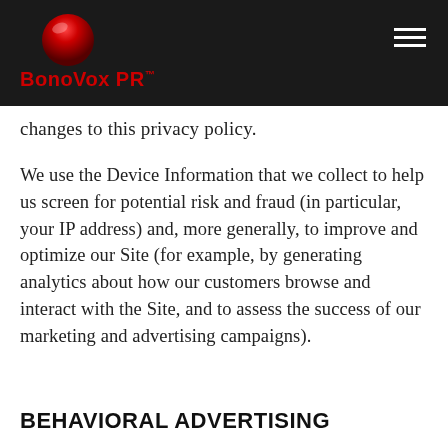BonoVox PR™
changes to this privacy policy.
We use the Device Information that we collect to help us screen for potential risk and fraud (in particular, your IP address) and, more generally, to improve and optimize our Site (for example, by generating analytics about how our customers browse and interact with the Site, and to assess the success of our marketing and advertising campaigns).
BEHAVIORAL ADVERTISING